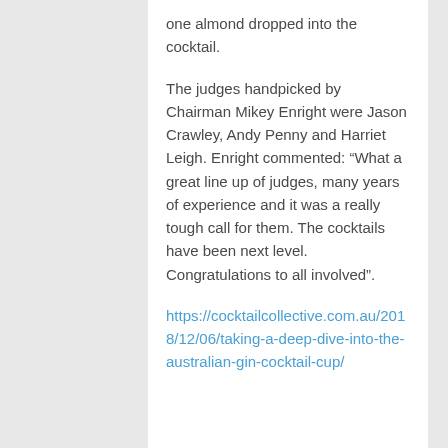one almond dropped into the cocktail.
The judges handpicked by Chairman Mikey Enright were Jason Crawley, Andy Penny and Harriet Leigh. Enright commented: “What a great line up of judges, many years of experience and it was a really tough call for them. The cocktails have been next level. Congratulations to all involved”.
https://cocktailcollective.com.au/2018/12/06/taking-a-deep-dive-into-the-australian-gin-cocktail-cup/